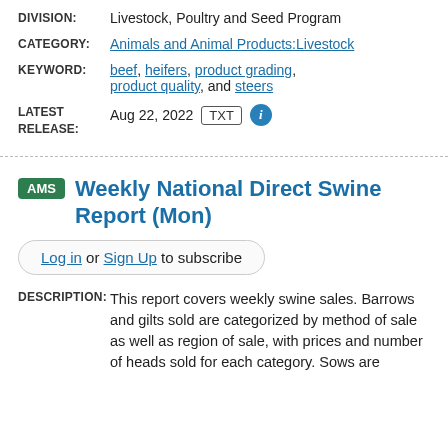DIVISION: Livestock, Poultry and Seed Program
CATEGORY: Animals and Animal Products:Livestock
KEYWORD: beef, heifers, product grading, product quality, and steers
LATEST RELEASE: Aug 22, 2022 TXT
Weekly National Direct Swine Report (Mon)
Log in or Sign Up to subscribe
DESCRIPTION: This report covers weekly swine sales. Barrows and gilts sold are categorized by method of sale as well as region of sale, with prices and number of heads sold for each category. Sows are